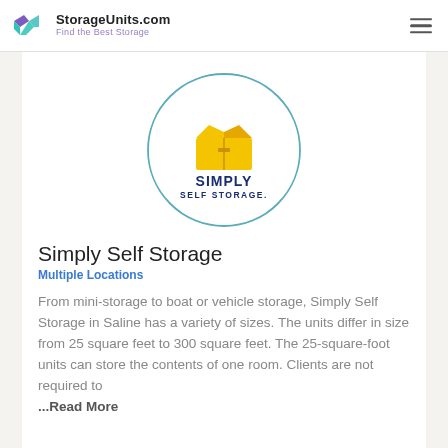StorageUnits.com — Find the Best Storage
[Figure (logo): Simply Self Storage circular logo with yellow storage unit icon and dark blue text reading SIMPLY SELF STORAGE]
Simply Self Storage
Multiple Locations
From mini-storage to boat or vehicle storage, Simply Self Storage in Saline has a variety of sizes. The units differ in size from 25 square feet to 300 square feet. The 25-square-foot units can store the contents of one room. Clients are not required to ...Read More